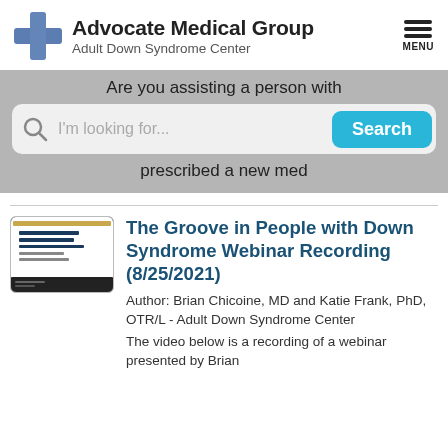[Figure (logo): Advocate Medical Group Adult Down Syndrome Center logo with blue cross icon]
[Figure (screenshot): Search bar with 'I'm looking for...' placeholder, Search button, and partial banner text 'Are you assisting a person with' and 'prescribed a new med']
[Figure (photo): Thumbnail of 'The Groove in People with Down Syndrome' webinar slide with Adult Down Syndrome Center branding]
The Groove in People with Down Syndrome Webinar Recording (8/25/2021)
Author: Brian Chicoine, MD and Katie Frank, PhD, OTR/L - Adult Down Syndrome Center
The video below is a recording of a webinar presented by Brian